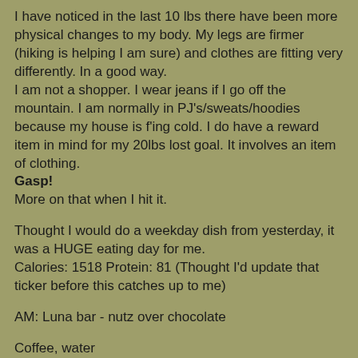I have noticed in the last 10 lbs there have been more physical changes to my body. My legs are firmer (hiking is helping I am sure) and clothes are fitting very differently. In a good way.
I am not a shopper. I wear jeans if I go off the mountain. I am normally in PJ's/sweats/hoodies because my house is f'ing cold. I do have a reward item in mind for my 20lbs lost goal. It involves an item of clothing.
Gasp!
More on that when I hit it.
Thought I would do a weekday dish from yesterday, it was a HUGE eating day for me.
Calories: 1518 Protein: 81 (Thought I'd update that ticker before this catches up to me)
AM: Luna bar - nutz over chocolate
Coffee, water
11AM: 3/4C of Roast Beef Hash - I don't care for it but I had tossed everything from the fridge I had to resort to canned goods.